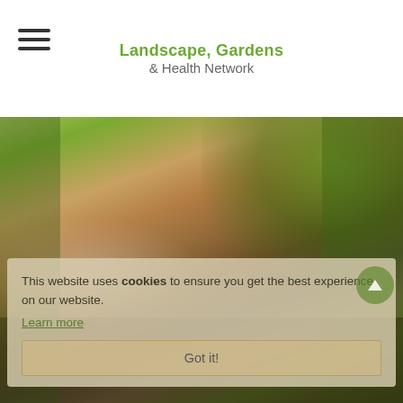Landscape, Gardens & Health Network
[Figure (photo): Close-up photo of elderly hands holding soil with a small seedling, surrounded by green leaves, gardening context]
This website uses cookies to ensure you get the best experience on our website.
Learn more
Got it!